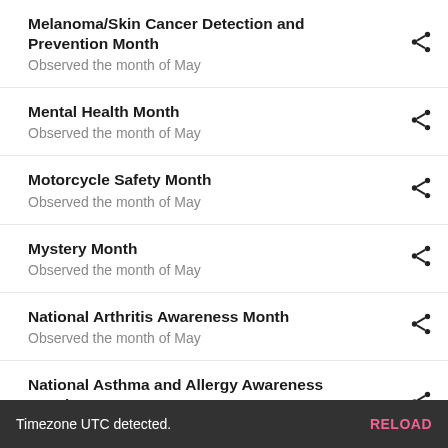Melanoma/Skin Cancer Detection and Prevention Month
Observed the month of May
Mental Health Month
Observed the month of May
Motorcycle Safety Month
Observed the month of May
Mystery Month
Observed the month of May
National Arthritis Awareness Month
Observed the month of May
National Asthma and Allergy Awareness Month
Observed the month of May
National Barbecue Month
Timezone UTC detected.  RELOAD